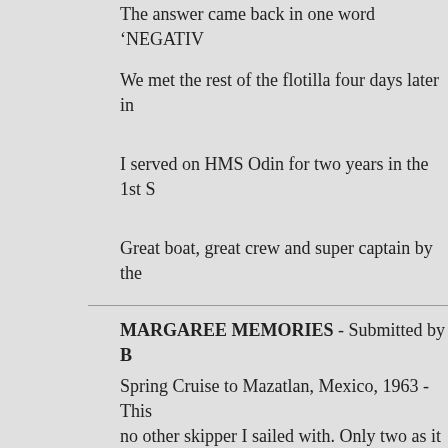The answer came back in one word 'NEGATIV
We met the rest of the flotilla four days later in
I served on HMS Odin for two years in the 1st S
Great boat, great crew and super captain by the
MARGAREE MEMORIES - Submitted by B
Spring Cruise to Mazatlan, Mexico, 1963 - This no other skipper I sailed with. Only two as it tu into a swimming pool and it was used frequentl the boats crews launch so he could get closer lo
IT'S A BIRD ... IT'S A PLANE ... - Submitted
HMCS SASKATOON accompanied by a mines with the minesweeper following astern. The SA After a bit, the sweeper started falling astern bu further back, the CO ordered me to pass a mess and disconnect from coming. And that t